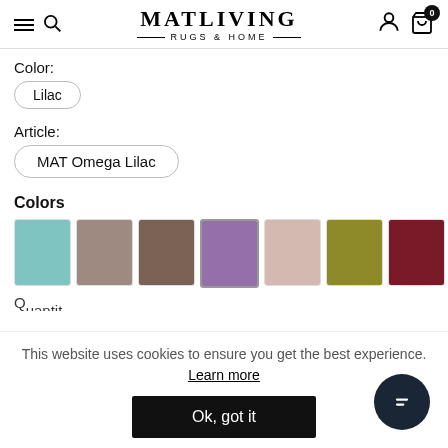MATLIVING RUGS & HOME
Color:
Lilac
Article:
MAT Omega Lilac
Colors
[Figure (other): 7 color swatches for rug colors: teal/aqua, taupe, dark brown, purple/lilac (selected), beige/blush, olive/yellow-green, dark red/burgundy]
This website uses cookies to ensure you get the best experience. Learn more
Ok, got it